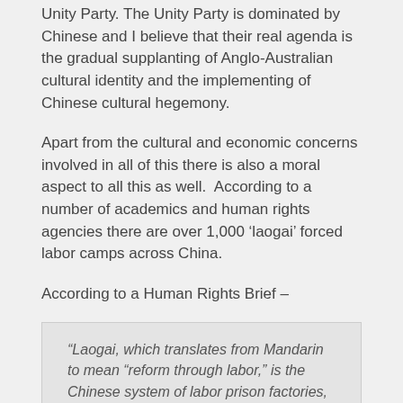Unity Party. The Unity Party is dominated by Chinese and I believe that their real agenda is the gradual supplanting of Anglo-Australian cultural identity and the implementing of Chinese cultural hegemony.
Apart from the cultural and economic concerns involved in all of this there is also a moral aspect to all this as well.  According to a number of academics and human rights agencies there are over 1,000 ‘laogai’ forced labor camps across China.
According to a Human Rights Brief –
“Laogai, which translates from Mandarin to mean “reform through labor,” is the Chinese system of labor prison factories, detention centers, and re-education camps. Mao Zedong created the system in the early 1950s, modeling it after the Soviet Gulag, as a way to punish and reform criminals in a manner useful to the state, producing thought reform and economic gain. The Laogai